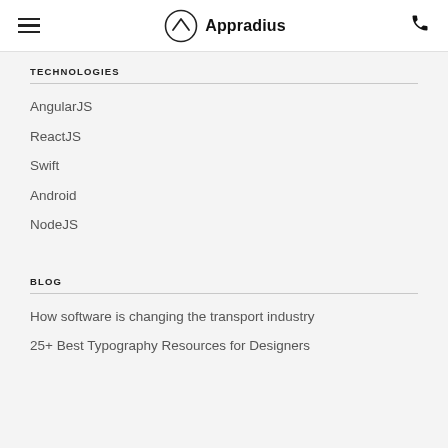Appradius
TECHNOLOGIES
AngularJS
ReactJS
Swift
Android
NodeJS
BLOG
How software is changing the transport industry
25+ Best Typography Resources for Designers